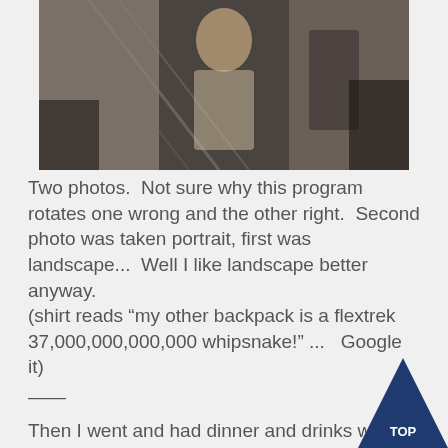[Figure (photo): A photograph showing a person, appears rotated/landscape orientation, taken indoors with stairs or railing visible in background. Dark/moody tones.]
Two photos.  Not sure why this program rotates one wrong and the other right.  Second photo was taken portrait, first was landscape...  Well I like landscape better anyway.
(shirt reads “my other backpack is a flextrek 37,000,000,000,000 whipsnake!” ...   Google it)
——
Then I went and had dinner and drinks with KC and her fiancé. Way cute couple! Wedding Sept 24... d